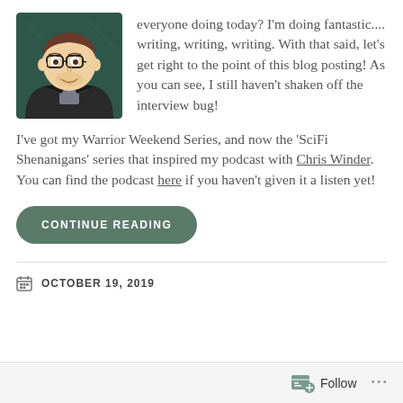[Figure (illustration): Cartoon avatar illustration of a man with glasses, brown hair, wearing a dark jacket, smiling, on a dark green background]
everyone doing today? I'm doing fantastic.... writing, writing, writing. With that said, let's get right to the point of this blog posting! As you can see, I still haven't shaken off the interview bug!
I've got my Warrior Weekend Series, and now the 'SciFi Shenanigans' series that inspired my podcast with Chris Winder. You can find the podcast here if you haven't given it a listen yet!
CONTINUE READING
OCTOBER 19, 2019
Follow